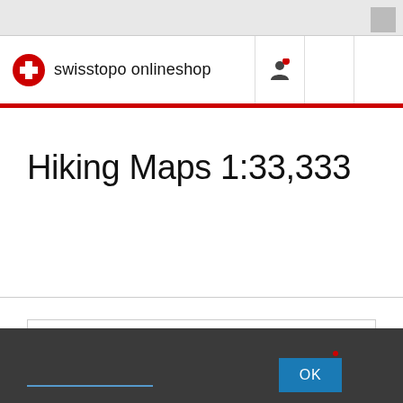swisstopo onlineshop
Hiking Maps 1:33,333